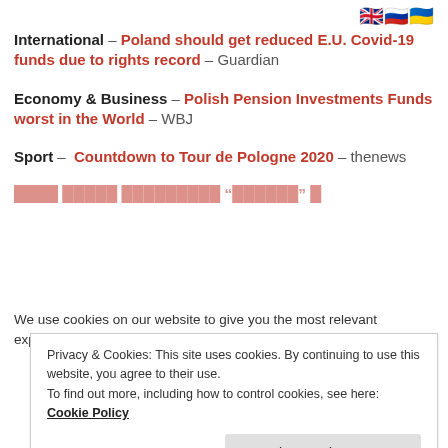[Figure (other): UK, Russian, and Ukrainian flag emoji icons aligned to the right]
International – Poland should get reduced E.U. Covid-19 funds due to rights record – Guardian
Economy & Business – Polish Pension Investments Funds worst in the World – WBJ
Sport – Countdown to Tour de Pologne 2020 – thenews
[partial red link text partially visible]
We use cookies on our website to give you the most relevant experience by remembering your preferences and
Privacy & Cookies: This site uses cookies. By continuing to use this website, you agree to their use.
To find out more, including how to control cookies, see here: Cookie Policy
Close and accept